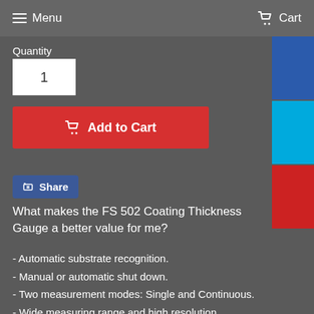Menu   Cart
Quantity
1
Add to Cart
Share
What makes the FS 502 Coating Thickness Gauge a better value for me?
- Automatic substrate recognition.
- Manual or automatic shut down.
- Two measurement modes: Single and Continuous.
- Wide measuring range and high resolution.